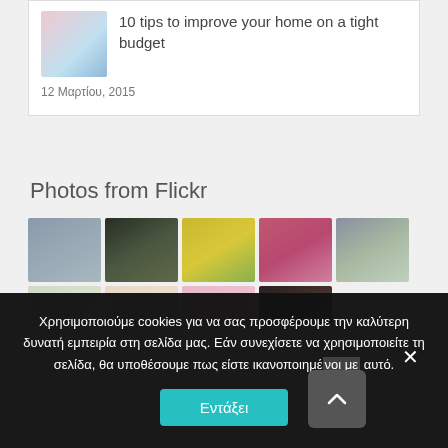[Figure (screenshot): Article card with thumbnail image of pink/teal decorative photo, title '10 tips to improve your home on a tight budget', date '12 Μαρτίου, 2015']
Photos from Flickr
[Figure (photo): Grid of Flickr photos showing nature images: wind chime, dark forest, yellow flower, pink heather, blue flowers, branches, cream flower, pink flowers, dark silhouette]
Χρησιμοποιούμε cookies για να σας προσφέρουμε την καλύτερη δυνατή εμπειρία στη σελίδα μας. Εάν συνεχίσετε να χρησιμοποιείτε τη σελίδα, θα υποθέσουμε πως είστε ικανοποιημένοι με αυτό.